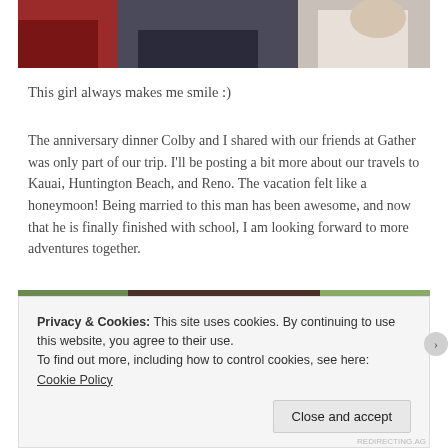[Figure (photo): Top portion of a photo showing people sitting, with red couch/cushions visible and what appears to be a person in white on the right.]
This girl always makes me smile :)
The anniversary dinner Colby and I shared with our friends at Gather was only part of our trip. I'll be posting a bit more about our travels to Kauai, Huntington Beach, and Reno. The vacation felt like a honeymoon! Being married to this man has been awesome, and now that he is finally finished with school, I am looking forward to more adventures together.
[Figure (photo): Close-up selfie photo of a young man with short brown hair looking at the camera, with green grass/foliage in the background and a blue shirt visible.]
Privacy & Cookies: This site uses cookies. By continuing to use this website, you agree to their use.
To find out more, including how to control cookies, see here: Cookie Policy
Close and accept